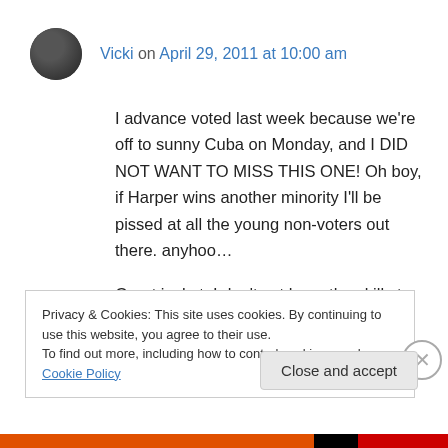Vicki on April 29, 2011 at 10:00 am
I advance voted last week because we're off to sunny Cuba on Monday, and I DID NOT WANT TO MISS THIS ONE! Oh boy, if Harper wins another minority I'll be pissed at all the young non-voters out there. anyhoo…
Great jacket. I don't yet have the skills to tackle that kind of project – maybe next year. I've been
Privacy & Cookies: This site uses cookies. By continuing to use this website, you agree to their use.
To find out more, including how to control cookies, see here: Cookie Policy